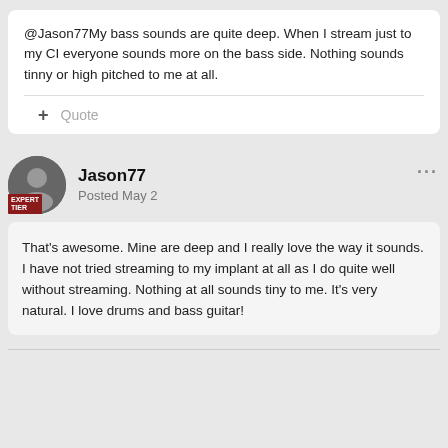@Jason77My bass sounds are quite deep. When I stream just to my CI everyone sounds more on the bass side. Nothing sounds tinny or high pitched to me at all.
Quote
Jason77
Posted May 2
That's awesome. Mine are deep and I really love the way it sounds. I have not tried streaming to my implant at all as I do quite well without streaming. Nothing at all sounds tiny to me. It's very natural. I love drums and bass guitar!